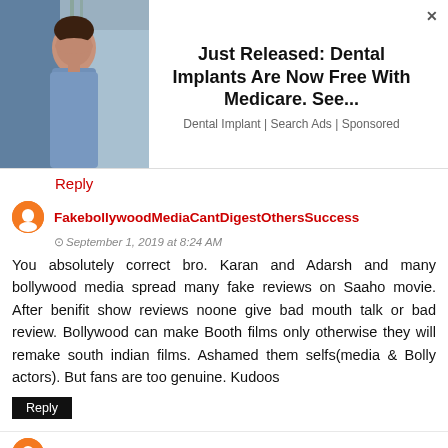[Figure (photo): Advertisement banner with a woman's photo on the left and text on the right: 'Just Released: Dental Implants Are Now Free With Medicare. See... Dental Implant | Search Ads | Sponsored']
Reply
FakebollywoodMediaCantDigestOthersSuccess
September 1, 2019 at 8:24 AM
You absolutely correct bro. Karan and Adarsh and many bollywood media spread many fake reviews on Saaho movie. After benifit show reviews noone give bad mouth talk or bad review. Bollywood can make Booth films only otherwise they will remake south indian films. Ashamed them selfs(media & Bolly actors). But fans are too genuine. Kudoos
Reply
FakebollywoodMediaCantDigestOthersSuccess
September 1, 2019 at 8:25 AM
You absolutely correct bro. Karan and Adarsh and